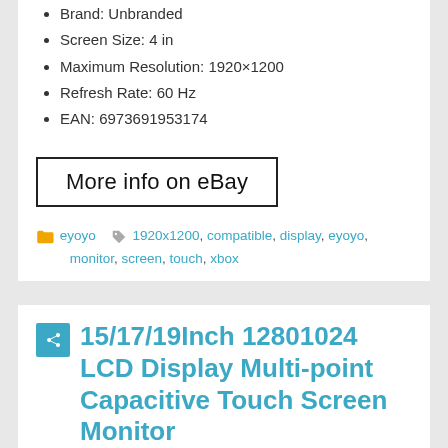Brand: Unbranded
Screen Size: 4 in
Maximum Resolution: 1920×1200
Refresh Rate: 60 Hz
EAN: 6973691953174
More info on eBay
eyoyo  1920x1200, compatible, display, eyoyo, monitor, screen, touch, xbox
15/17/19Inch 12801024 LCD Display Multi-point Capacitive Touch Screen Monitor
February 24, 2022  admin
[Figure (photo): Product photo of an LCD monitor display]